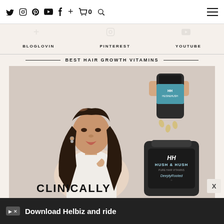Twitter Instagram Pinterest YouTube Facebook + Cart 0 Search ≡
BLOGLOVIN  PINTEREST  YOUTUBE
BEST HAIR GROWTH VITAMINS
[Figure (photo): Woman with long dark hair touching her hair, next to images of Hush & Hush DeeplyRooted supplement bottles. Text reads CLINICALLY at the bottom.]
Download Helbiz and ride